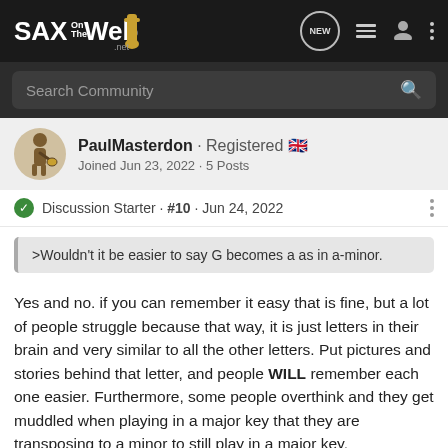SAX On The Web
Search Community
PaulMasterdon · Registered 🇬🇧
Joined Jun 23, 2022 · 5 Posts
Discussion Starter · #10 · Jun 24, 2022
>Wouldn't it be easier to say G becomes a as in a-minor.
Yes and no. if you can remember it easy that is fine, but a lot of people struggle because that way, it is just letters in their brain and very similar to all the other letters. Put pictures and stories behind that letter, and people WILL remember each one easier. Furthermore, some people overthink and they get muddled when playing in a major key that they are transposing to a minor to still play in a major key.